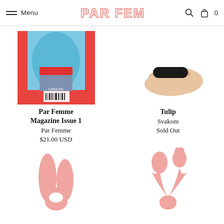Menu | PAR FEMME | Search | Cart 0
[Figure (photo): Magazine cover with person in blue outfit on red background]
[Figure (photo): Hand holding a small black device (Svakom Tulip vibrator)]
Par Femme Magazine Issue 1
Par Femme
$21.00 USD
Tulip
Svakom
Sold Out
[Figure (photo): Pink toy with two prongs - bottom left product]
[Figure (photo): Pink toy with curved shape - bottom right product]